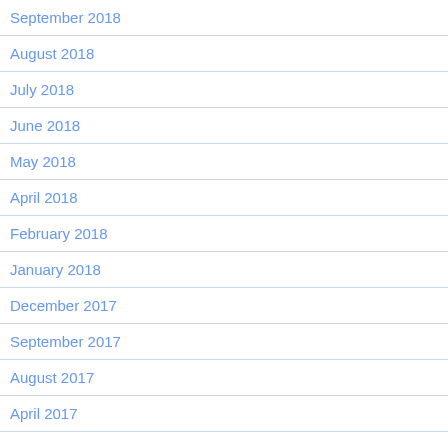September 2018
August 2018
July 2018
June 2018
May 2018
April 2018
February 2018
January 2018
December 2017
September 2017
August 2017
April 2017